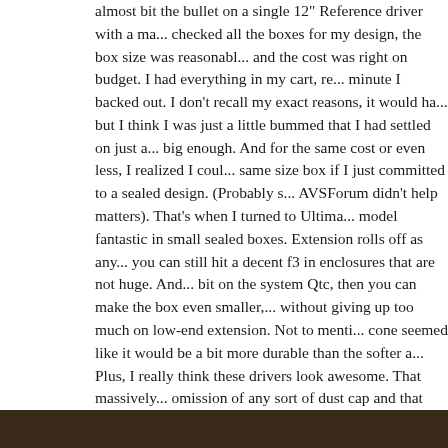almost bit the bullet on a single 12" Reference driver with a ma... checked all the boxes for my design, the box size was reasonabl... and the cost was right on budget. I had everything in my cart, re... minute I backed out. I don't recall my exact reasons, it would ha... but I think I was just a little bummed that I had settled on just a... big enough. And for the same cost or even less, I realized I coul... same size box if I just committed to a sealed design. (Probably s... AVSForum didn't help matters). That's when I turned to Ultima... model fantastic in small sealed boxes. Extension rolls off as any... you can still hit a decent f3 in enclosures that are not huge. And... bit on the system Qtc, then you can make the box even smaller,... without giving up too much on low-end extension. Not to menti... cone seemed like it would be a bit more durable than the softer a... Plus, I really think these drivers look awesome. That massively... omission of any sort of dust cap and that sweet-looking woven c... into the spider, plus the dual 2-ohm coils means more flexibility... it, we were going Ultimax. And since I wasn't too keen on just t... between the 15" and the 18".
[Figure (photo): Dark brown/black image strip at the bottom of the page, partially visible]